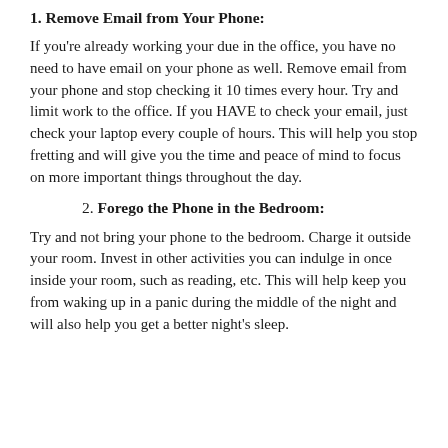1. Remove Email from Your Phone:
If you're already working your due in the office, you have no need to have email on your phone as well. Remove email from your phone and stop checking it 10 times every hour. Try and limit work to the office. If you HAVE to check your email, just check your laptop every couple of hours. This will help you stop fretting and will give you the time and peace of mind to focus on more important things throughout the day.
2. Forego the Phone in the Bedroom:
Try and not bring your phone to the bedroom. Charge it outside your room. Invest in other activities you can indulge in once inside your room, such as reading, etc. This will help keep you from waking up in a panic during the middle of the night and will also help you get a better night's sleep.